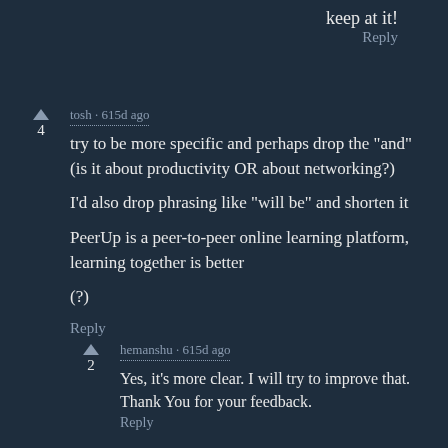keep at it!
Reply
tosh · 615d ago
try to be more specific and perhaps drop the "and" (is it about productivity OR about networking?)

I'd also drop phrasing like "will be" and shorten it

PeerUp is a peer-to-peer online learning platform, learning together is better

(?)
Reply
hemanshu · 615d ago
Yes, it's more clear. I will try to improve that.
Thank You for your feedback.
Reply